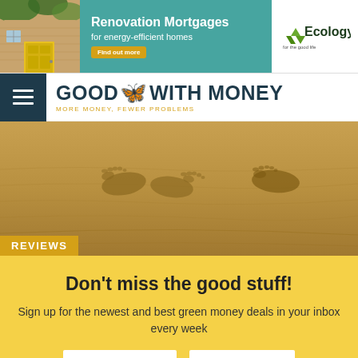[Figure (infographic): Ecology Building Society advertisement banner: photo of house with yellow door, teal background with text 'Renovation Mortgages for energy-efficient homes', Find out more button, and Ecology logo]
GOOD WITH MONEY — MORE MONEY, FEWER PROBLEMS
[Figure (photo): Hero image of two footprints in golden sand, wide panoramic crop]
REVIEWS
Don't miss the good stuff!
Sign up for the newest and best green money deals in your inbox every week
YES PLEASE!   NO THANKS